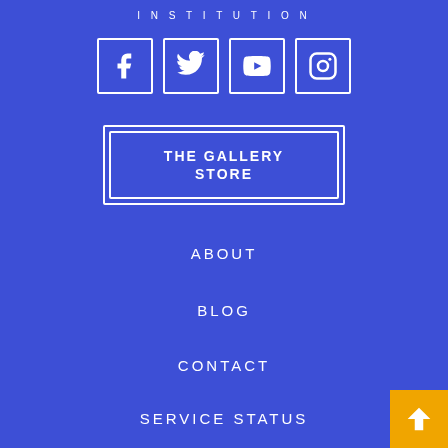INSTITUTION
[Figure (logo): Row of four social media icons in white-bordered squares: Facebook, Twitter, YouTube, Instagram]
THE GALLERY STORE
ABOUT
BLOG
CONTACT
SERVICE STATUS